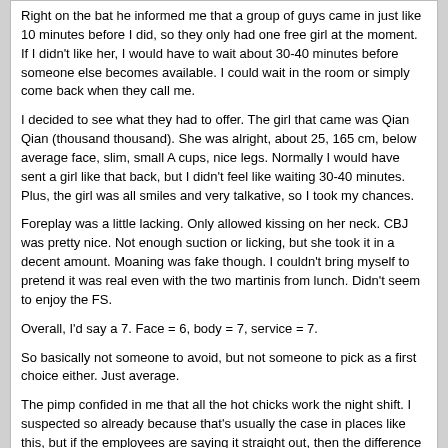Right on the bat he informed me that a group of guys came in just like 10 minutes before I did, so they only had one free girl at the moment. If I didn't like her, I would have to wait about 30-40 minutes before someone else becomes available. I could wait in the room or simply come back when they call me.

I decided to see what they had to offer. The girl that came was Qian Qian (thousand thousand). She was alright, about 25, 165 cm, below average face, slim, small A cups, nice legs. Normally I would have sent a girl like that back, but I didn't feel like waiting 30-40 minutes. Plus, the girl was all smiles and very talkative, so I took my chances.

Foreplay was a little lacking. Only allowed kissing on her neck. CBJ was pretty nice. Not enough suction or licking, but she took it in a decent amount. Moaning was fake though. I couldn't bring myself to pretend it was real even with the two martinis from lunch. Didn't seem to enjoy the FS.

Overall, I'd say a 7. Face = 6, body = 7, service = 7.

So basically not someone to avoid, but not someone to pick as a first choice either. Just average.

The pimp confided in me that all the hot chicks work the night shift. I suspected so already because that's usually the case in places like this, but if the employees are saying it straight out, then the difference between day shift and night shift must be pretty significant!
Hot Jizz | 11-12-10, 09:14

Another quick report about an Emperor Asia girl.

Xiao Qi (Little Qi), works day shift, about 160 cm, mid-20s, slim, cute face, small A cups, cute face, silky jet black hair down to her waist, and has a dominatrix attitude. Pretty good and sensual with the body rub and doesn't waste time with the useless massage.

Absolutely no kissing allowed and the CCBJ was weak. But when it came down to business, she was naturally wet like a river and really liked to take it hard.